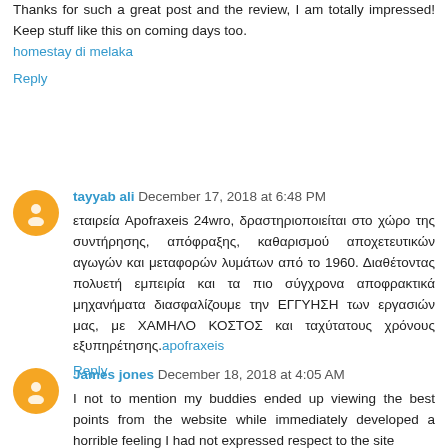Thanks for such a great post and the review, I am totally impressed! Keep stuff like this on coming days too. homestay di melaka
Reply
tayyab ali  December 17, 2018 at 6:48 PM
εταιρεία Apofraxeis 24wro, δραστηριοποιείται στο χώρο της συντήρησης, απόφραξης, καθαρισμού αποχετευτικών αγωγών και μεταφορών λυμάτων από το 1960. Διαθέτοντας πολυετή εμπειρία και τα πιο σύγχρονα αποφρακτικά μηχανήματα διασφαλίζουμε την ΕΓΓΥΗΣΗ των εργασιών μας, με ΧΑΜΗΛΟ ΚΟΣΤΟΣ και ταχύτατους χρόνους εξυπηρέτησης.apofraxeis
Reply
James jones  December 18, 2018 at 4:05 AM
I not to mention my buddies ended up viewing the best points from the website while immediately developed a horrible feeling I had not expressed respect to the site